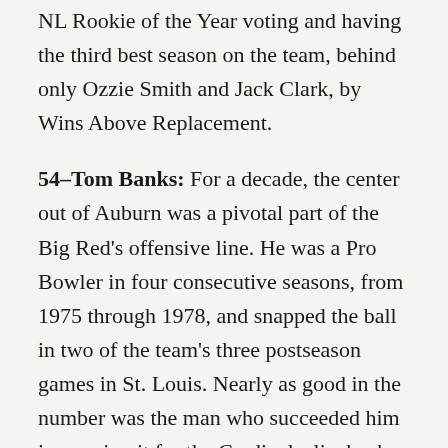NL Rookie of the Year voting and having the third best season on the team, behind only Ozzie Smith and Jack Clark, by Wins Above Replacement.
54–Tom Banks: For a decade, the center out of Auburn was a pivotal part of the Big Red's offensive line. He was a Pro Bowler in four consecutive seasons, from 1975 through 1978, and snapped the ball in two of the team's three postseason games in St. Louis. Nearly as good in the number was the man who succeeded him in wearing it for the Cardinals, linebacker E.J. Junior (ironically, a highly touted player out of Banks's college rival, Alabama), who played in two Pro Bowls and the other St. Louis postseason game. It's close, but Banks has the